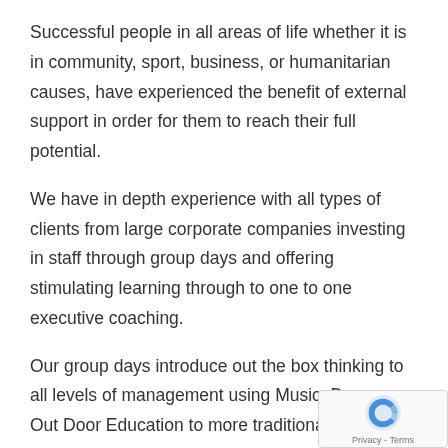Successful people in all areas of life whether it is in community, sport, business, or humanitarian causes, have experienced the benefit of external support in order for them to reach their full potential.
We have in depth experience with all types of clients from large corporate companies investing in staff through group days and offering stimulating learning through to one to one executive coaching.
Our group days introduce out the box thinking to all levels of management using Music, Dance, Out Door Education to more traditional team building experiences, we also provide low risk onsite acti